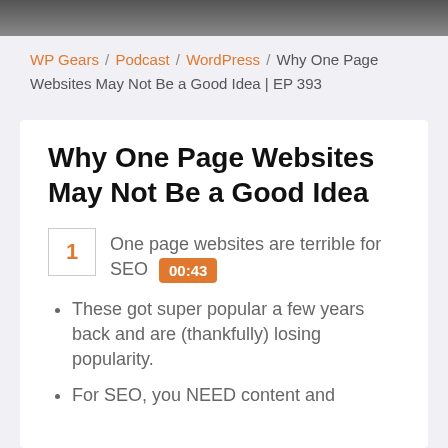[Figure (photo): Dark header image bar at the top of the page]
WP Gears / Podcast / WordPress / Why One Page Websites May Not Be a Good Idea | EP 393
Why One Page Websites May Not Be a Good Idea
1 — One page websites are terrible for SEO  00:43
These got super popular a few years back and are (thankfully) losing popularity.
For SEO, you NEED content and